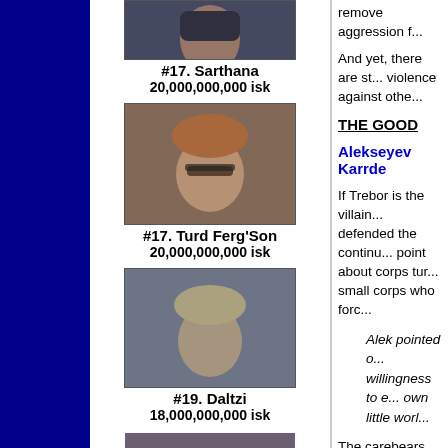[Figure (photo): Character portrait #17 Sarthana - dark-haired female character]
#17. Sarthana
20,000,000,000 isk
[Figure (photo): Character portrait #17 Turd Ferg'Son - male character with sunglasses and short reddish hair]
#17. Turd Ferg'Son
20,000,000,000 isk
[Figure (photo): Character portrait #19 Daltzi - male character with short light hair]
#19. Daltzi
18,000,000,000 isk
remove aggression f...
And yet, there are st... violence against othe...
THE GOOD
Alekseyev Karrde
If Trebor is the villain... defended the continu... point about corps tur... small corps who forc...
Alek pointed o... willingness to e... own little worl...
The carebears comp... will dock up, and no... that argument: